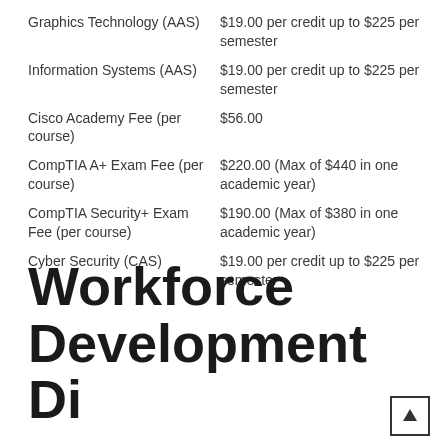| Program/Fee | Cost |
| --- | --- |
| Graphics Technology (AAS) | $19.00 per credit up to $225 per semester |
| Information Systems (AAS) | $19.00 per credit up to $225 per semester |
| Cisco Academy Fee (per course) | $56.00 |
| CompTIA A+ Exam Fee (per course) | $220.00 (Max of $440 in one academic year) |
| CompTIA Security+ Exam Fee (per course) | $190.00 (Max of $380 in one academic year) |
| Cyber Security (CAS) | $19.00 per credit up to $225 per semester |
Workforce Development Division